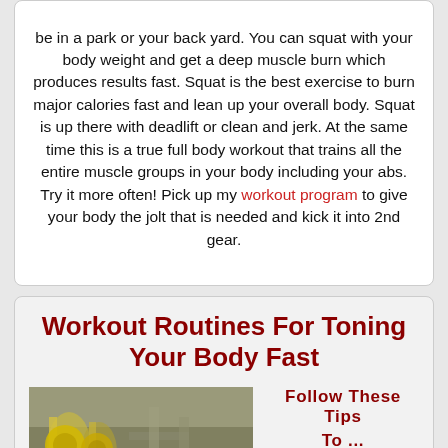be in a park or your back yard. You can squat with your body weight and get a deep muscle burn which produces results fast. Squat is the best exercise to burn major calories fast and lean up your overall body. Squat is up there with deadlift or clean and jerk. At the same time this is a true full body workout that trains all the entire muscle groups in your body including your abs. Try it more often! Pick up my workout program to give your body the jolt that is needed and kick it into 2nd gear.
Workout Routines For Toning Your Body Fast
[Figure (photo): Photo of gym equipment, blurred background with yellow and grey weights/machines visible]
Follow These Tips
To ...